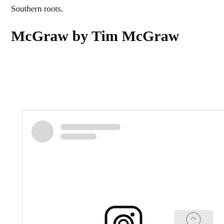Southern roots.
McGraw by Tim McGraw
[Figure (screenshot): Instagram embed placeholder showing a profile avatar placeholder (grey circle), two grey placeholder lines for username, a large Instagram camera logo icon in the center, and a 'View this post on Instagram' link at the bottom. A reCAPTCHA badge appears in the bottom-right corner.]